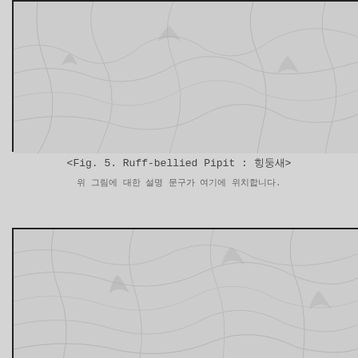[Figure (map): Topographic or distribution map showing terrain/habitat features with contour-like lines, gray-scale rendering, top portion of page]
<Fig. 5. Ruff-bellied Pipit : 힝둥새>
위 그림에 대한 설명 문구가 여기에 위치합니다.
[Figure (map): Topographic or distribution map showing terrain/habitat features with contour-like lines, gray-scale rendering, bottom portion of page]